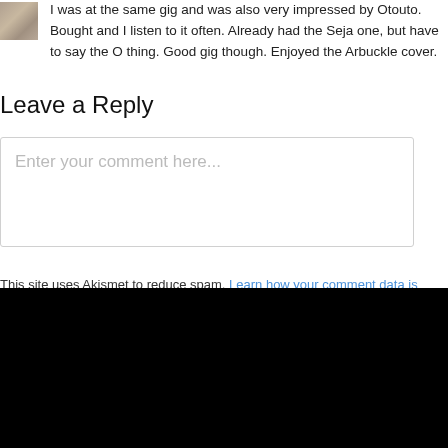I was at the same gig and was also very impressed by Otouto. Bought and I listen to it often. Already had the Seja one, but have to say the O thing. Good gig though. Enjoyed the Arbuckle cover.
Leave a Reply
Enter your comment here...
This site uses Akismet to reduce spam. Learn how your comment data is process